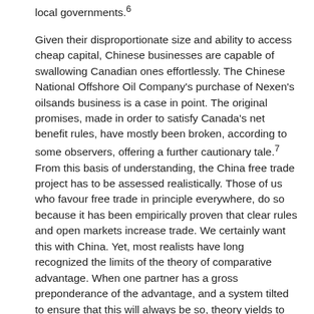local governments.6
Given their disproportionate size and ability to access cheap capital, Chinese businesses are capable of swallowing Canadian ones effortlessly. The Chinese National Offshore Oil Company's purchase of Nexen's oilsands business is a case in point. The original promises, made in order to satisfy Canada's net benefit rules, have mostly been broken, according to some observers, offering a further cautionary tale.7 From this basis of understanding, the China free trade project has to be assessed realistically. Those of us who favour free trade in principle everywhere, do so because it has been empirically proven that clear rules and open markets increase trade. We certainly want this with China. Yet, most realists have long recognized the limits of the theory of comparative advantage. When one partner has a gross preponderance of the advantage, and a system tilted to ensure that this will always be so, theory yields to practical considerations.
Combined with the geopolitical context, it's clear that we